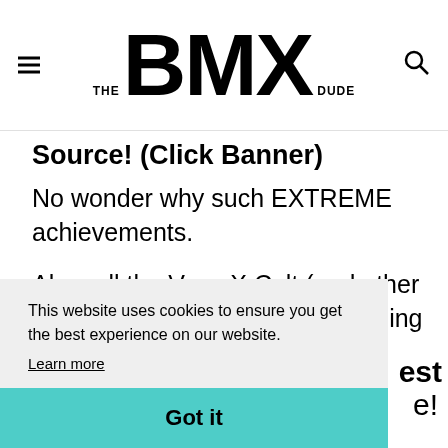THE BMX DUDE
Source! (Click Banner)
No wonder why such EXTREME achievements.
Also, all the Vans X Cult (and other brand collabs) releases are nothing but new
This website uses cookies to ensure you get the best experience on our website.
Learn more
Got it